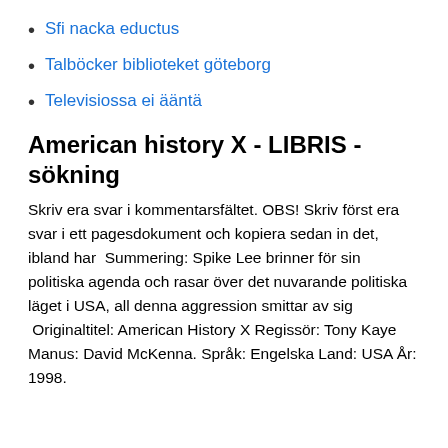Sfi nacka eductus
Talböcker biblioteket göteborg
Televisiossa ei ääntä
American history X - LIBRIS - sökning
Skriv era svar i kommentarsfältet. OBS! Skriv först era svar i ett pagesdokument och kopiera sedan in det, ibland har  Summering: Spike Lee brinner för sin politiska agenda och rasar över det nuvarande politiska läget i USA, all denna aggression smittar av sig  Originaltitel: American History X Regissör: Tony Kaye Manus: David McKenna. Språk: Engelska Land: USA År: 1998.